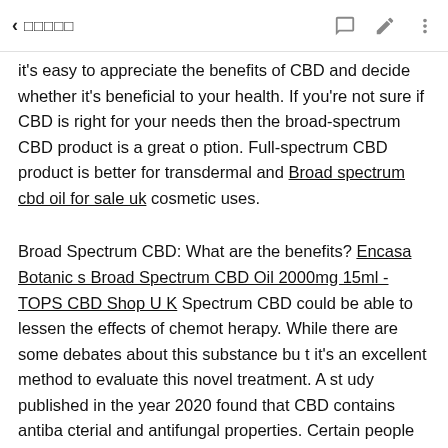◂ □□□□□
it's easy to appreciate the benefits of CBD and decide whether it's beneficial to your health. If you're not sure if CBD is right for your needs then the broad-spectrum CBD product is a great option. Full-spectrum CBD product is better for transdermal and Broad spectrum cbd oil for sale uk cosmetic uses.
Broad Spectrum CBD: What are the benefits? Encasa Botanics Broad Spectrum CBD Oil 2000mg 15ml - TOPS CBD Shop UK Spectrum CBD could be able to lessen the effects of chemotherapy. While there are some debates about this substance but it's an excellent method to evaluate this novel treatment. A study published in the year 2020 found that CBD contains antibacterial and antifungal properties. Certain people aren't affected by THC therefore a full spectrum product might be better suited to those who aren't. For these reasons, the full spectrum CB